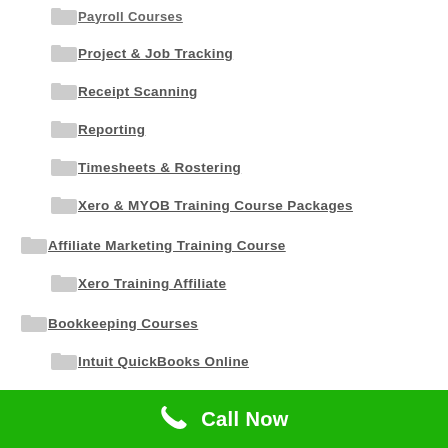Payroll Courses
Project & Job Tracking
Receipt Scanning
Reporting
Timesheets & Rostering
Xero & MYOB Training Course Packages
Affiliate Marketing Training Course
Xero Training Affiliate
Bookkeeping Courses
Intuit QuickBooks Online
MYOB Training Courses
MYOB AccountRight Course
Call Now